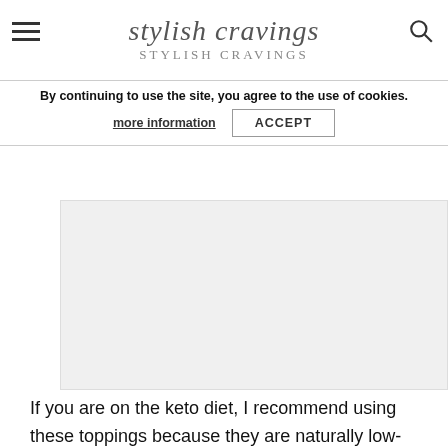stylish cravings
By continuing to use the site, you agree to the use of cookies.
more information   ACCEPT
[Figure (photo): Large image placeholder area, light gray background]
If you are on the keto diet, I recommend using these toppings because they are naturally low-carb.
Hot sauce